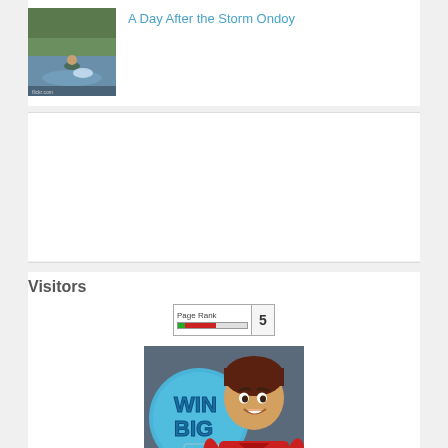[Figure (photo): Thumbnail photo showing people in floodwater after Storm Ondoy]
A Day After the Storm Ondoy
[Figure (infographic): PageRank widget showing rank 5 with green and red bar]
Visitors
[Figure (illustration): Win Big promotional image with Boy Kuripot cartoon character in red shirt]